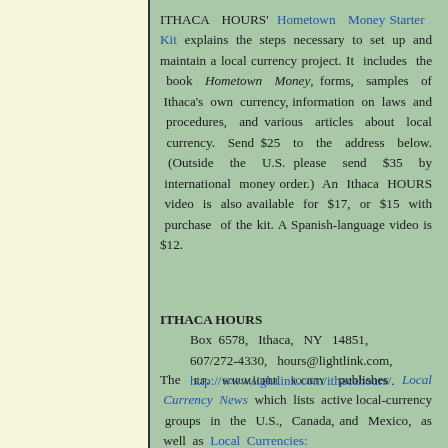ITHACA HOURS' Hometown Money Starter Kit explains the steps necessary to set up and maintain a local currency project. It includes the book Hometown Money, forms, samples of Ithaca's own currency, information on laws and procedures, and various articles about local currency. Send $25 to the address below. (Outside the U.S. please send $35 by international money order.) An Ithaca HOURS video is also available for $17, or $15 with purchase of the kit. A Spanish-language video is $12.
ITHACA HOURS
Box 6578, Ithaca, NY 14851, 607/272-4330, hours@lightlink.com, http://www.lightlink.com/ithacahours/.
The E.F. SCHUMACHER SOCIETY publishes Local Currency News which lists active local-currency groups in the U.S., Canada, and Mexico, as well as Local Currencies: